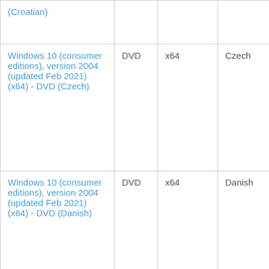| (Croatian) |  |  |  |
| Windows 10 (consumer editions), version 2004 (updated Feb 2021) (x64) - DVD (Czech) | DVD | x64 | Czech |
| Windows 10 (consumer editions), version 2004 (updated Feb 2021) (x64) - DVD (Danish) | DVD | x64 | Danish |